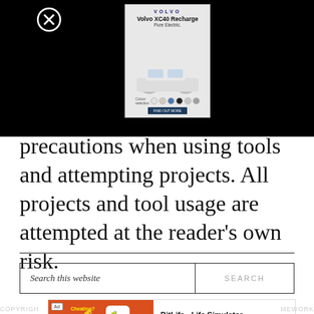[Figure (screenshot): Volvo XC40 Recharge Pure Electric advertisement panel overlaid on black background, with close button icon top-left]
precautions when using tools and attempting projects. All projects and tool usage are attempted at the reader's own risk.
[Figure (screenshot): Search bar with 'Search this website' placeholder text and SEARCH button]
[Figure (screenshot): BitLife - Life Simulator app advertisement with Install button]
COPYRIGHT ... MEWORK